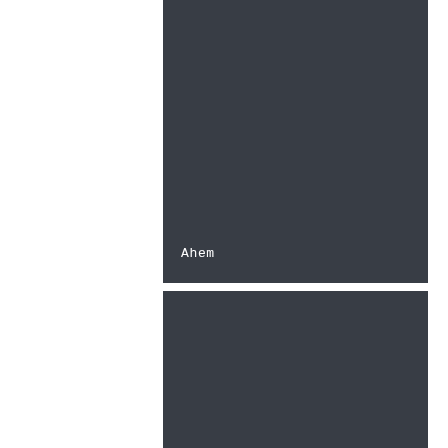[Figure (other): Dark gray panel (top section) with white monospace text 'Ahem' at bottom-left]
[Figure (other): Dark gray panel (middle section) with white monospace text "She's saying, Oh my fucking god through cum-coated lips" at bottom-left]
[Figure (other): Dark gray panel (bottom section), no text]